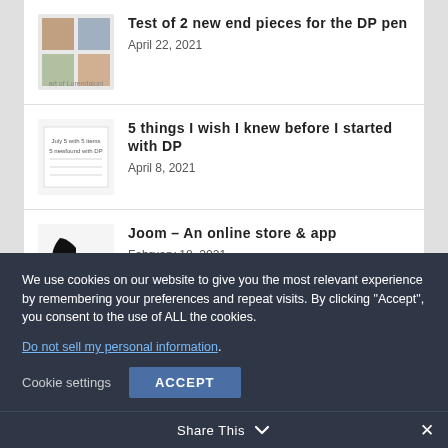[Figure (illustration): Thumbnail image for article about DP pen end pieces]
Test of 2 new end pieces for the DP pen
April 22, 2021
[Figure (illustration): Thumbnail image for article about 5 things about DP]
5 things I wish I knew before I started with DP
April 8, 2021
[Figure (logo): Joom logo – black leaf/app icon with JOOM text]
Joom – An online store & app
February 18, 2021
We use cookies on our website to give you the most relevant experience by remembering your preferences and repeat visits. By clicking “Accept”, you consent to the use of ALL the cookies.
Do not sell my personal information.
Cookie settings
ACCEPT
Share This